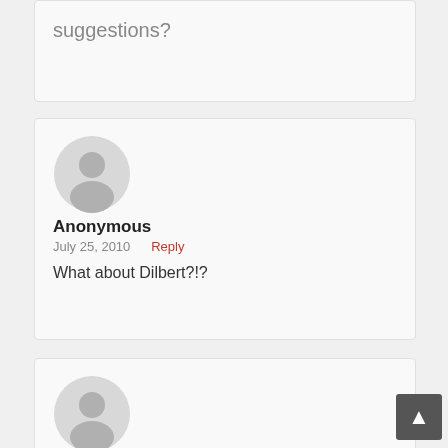suggestions?
[Figure (illustration): Anonymous user avatar (grey silhouette)]
Anonymous
July 25, 2010   Reply
What about Dilbert?!?
[Figure (illustration): Anonymous user avatar (grey silhouette)]
Anonymous
July 26, 2010   Reply